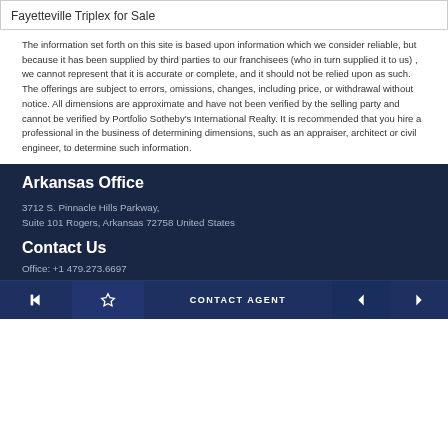Fayetteville Triplex for Sale
The information set forth on this site is based upon information which we consider reliable, but because it has been supplied by third parties to our franchisees (who in turn supplied it to us) , we cannot represent that it is accurate or complete, and it should not be relied upon as such. The offerings are subject to errors, omissions, changes, including price, or withdrawal without notice. All dimensions are approximate and have not been verified by the selling party and cannot be verified by Portfolio Sotheby's International Realty. It is recommended that you hire a professional in the business of determining dimensions, such as an appraiser, architect or civil engineer, to determine such information.
Arkansas Office
3712 S. Pinnacle Hills Parkway,
Suite 101 Rogers, Arkansas 72758 United States
Contact Us
Office: +1 479.273.6697
CONTACT AGENT